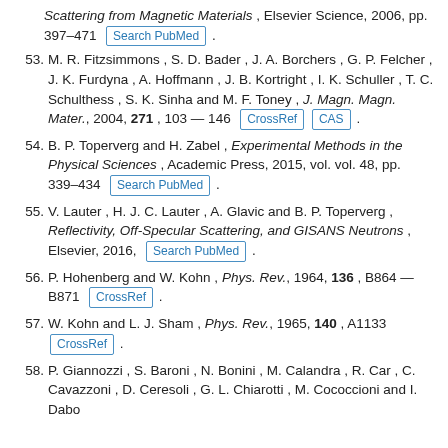(continuation) Scattering from Magnetic Materials, Elsevier Science, 2006, pp. 397–471 [Search PubMed] .
53. M. R. Fitzsimmons , S. D. Bader , J. A. Borchers , G. P. Felcher , J. K. Furdyna , A. Hoffmann , J. B. Kortright , I. K. Schuller , T. C. Schulthess , S. K. Sinha and M. F. Toney , J. Magn. Magn. Mater., 2004, 271 , 103 — 146 [CrossRef] [CAS] .
54. B. P. Toperverg and H. Zabel , Experimental Methods in the Physical Sciences , Academic Press, 2015, vol. vol. 48, pp. 339–434 [Search PubMed] .
55. V. Lauter , H. J. C. Lauter , A. Glavic and B. P. Toperverg , Reflectivity, Off-Specular Scattering, and GISANS Neutrons , Elsevier, 2016, [Search PubMed] .
56. P. Hohenberg and W. Kohn , Phys. Rev., 1964, 136 , B864 — B871 [CrossRef] .
57. W. Kohn and L. J. Sham , Phys. Rev., 1965, 140 , A1133 [CrossRef] .
58. P. Giannozzi , S. Baroni , N. Bonini , M. Calandra , R. Car , C. Cavazzoni , D. Ceresoli , G. L. Chiarotti , M. Cococcioni and I. Dabo